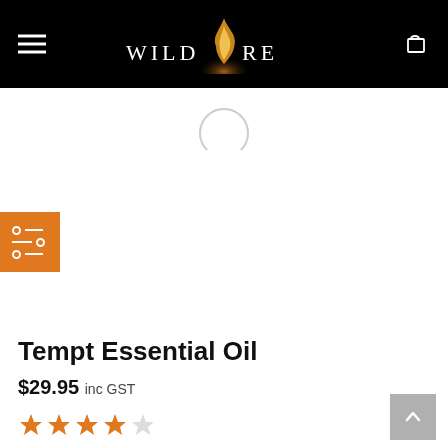[Figure (logo): Wildfire brand logo with stylized flame in white text on black background, with hamburger menu icon on left and shopping cart icon on right]
[Figure (other): Loading spinner circle partially visible at top of white product image area]
[Figure (other): Orange filter/settings button with white lines and dot icons]
Tempt Essential Oil
$29.95 inc GST
[Figure (other): 4-star rating with 4 filled orange stars and 1 empty star]